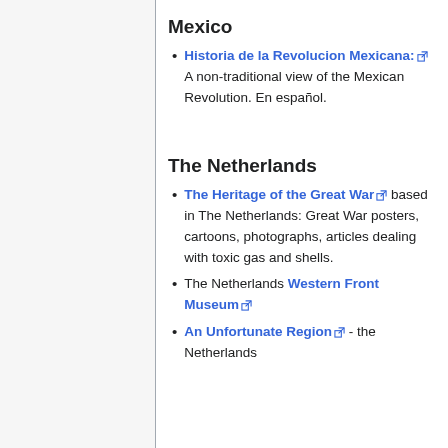Mexico
Historia de la Revolucion Mexicana: A non-traditional view of the Mexican Revolution. En español.
The Netherlands
The Heritage of the Great War based in The Netherlands: Great War posters, cartoons, photographs, articles dealing with toxic gas and shells.
The Netherlands Western Front Museum
An Unfortunate Region - the Netherlands